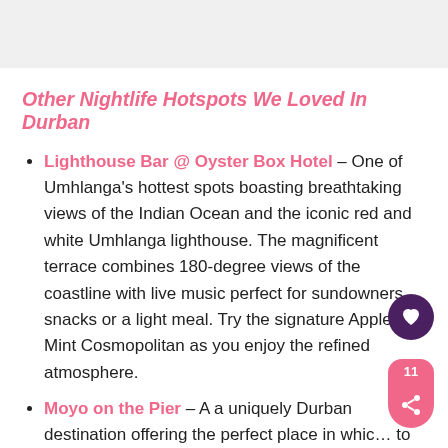Other Nightlife Hotspots We Loved In Durban
Lighthouse Bar @ Oyster Box Hotel – One of Umhlanga's hottest spots boasting breathtaking views of the Indian Ocean and the iconic red and white Umhlanga lighthouse. The magnificent terrace combines 180-degree views of the coastline with live music perfect for sundowners, snacks or a light meal. Try the signature Apple Mint Cosmopolitan as you enjoy the refined atmosphere.
Moyo on the Pier – A a uniquely Durban destination offering the perfect place in which to relax and watch the world go by. Cocktails at